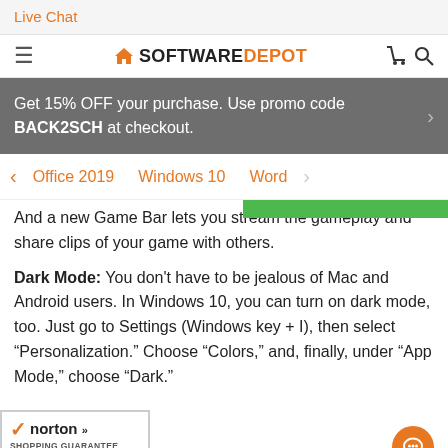Live Chat
[Figure (logo): SoftwareDepot logo with house icon, hamburger menu on left, cart and search icons on right]
Get 15% OFF your purchase. Use promo code BACK2SCH at checkout.
Office 2019   Windows 10   Word
And a new Game Bar lets you stream the gameplay and share clips of your game with others.
Dark Mode: You don't have to be jealous of Mac and Android users. In Windows 10, you can turn on dark mode, too. Just go to Settings (Windows key + I), then select “Personalization.” Choose “Colors,” and, finally, under “App Mode,” choose “Dark.”
[Figure (logo): Norton Shopping Guarantee badge dated 8/24/2022]